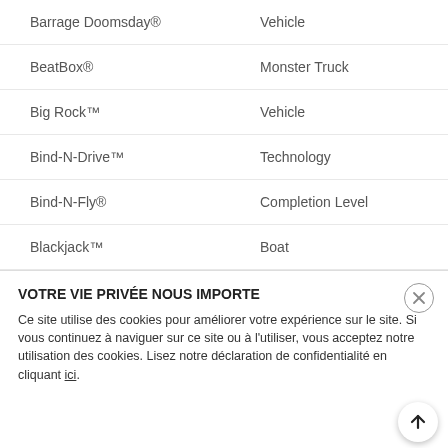Barrage Doomsday® | Vehicle
BeatBox® | Monster Truck
Big Rock™ | Vehicle
Bind-N-Drive™ | Technology
Bind-N-Fly® | Completion Level
Blackjack™ | Boat
VOTRE VIE PRIVÉE NOUS IMPORTE
Ce site utilise des cookies pour améliorer votre expérience sur le site. Si vous continuez à naviguer sur ce site ou à l'utiliser, vous acceptez notre utilisation des cookies. Lisez notre déclaration de confidentialité en cliquant ici.
Brand
Tires
ACCEPTER